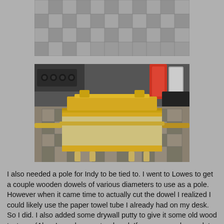[Figure (photo): Partial view of a cutting mat surface, top portion cropped]
[Figure (photo): A gold-colored model of the Ark of the Covenant sitting on a checkered cutting mat, with various items in the background including a power strip and containers]
I also needed a pole for Indy to be tied to.  I went to Lowes to get a couple wooden dowels of various diameters to use as a pole.  However when it came time to actually cut the dowel I realized I could likely use the paper towel tube I already had on my desk.  So I did. I also added some drywall putty to give it some old wood textures (Also, I now have extra dowel.  If anyone needs any, let me know).